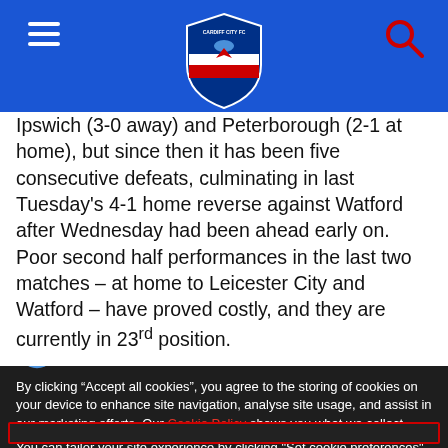Cardiff City FC header with hamburger menu, logo, and search icon
Ipswich (3-0 away) and Peterborough (2-1 at home), but since then it has been five consecutive defeats, culminating in last Tuesday's 4-1 home reverse against Watford after Wednesday had been ahead early on. Poor second half performances in the last two matches – at home to Leicester City and Watford – have proved costly, and they are currently in 23rd position.
SITE COOKIES
By clicking “Accept all cookies”, you agree to the storing of cookies on your device to enhance site navigation, analyse site usage, and assist in our marketing efforts. Our Cookie Policy shows you what we collect.

You can tailor your site experience by clicking "Set cookie preferences".